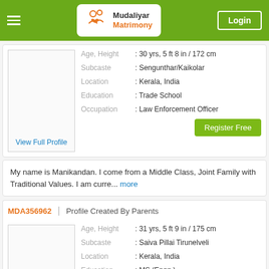Mudaliyar Matrimony | Login
| Field | Value |
| --- | --- |
| Age, Height | : 30 yrs, 5 ft 8 in / 172 cm |
| Subcaste | : Sengunthar/Kaikolar |
| Location | : Kerala, India |
| Education | : Trade School |
| Occupation | : Law Enforcement Officer |
My name is Manikandan. I come from a Middle Class, Joint Family with Traditional Values. I am curre... more
MDA356962 | Profile Created By Parents
| Field | Value |
| --- | --- |
| Age, Height | : 31 yrs, 5 ft 9 in / 175 cm |
| Subcaste | : Saiva Pillai Tirunelveli |
| Location | : Kerala, India |
| Education | : MS (Engg.) |
| Occupation | : Student |